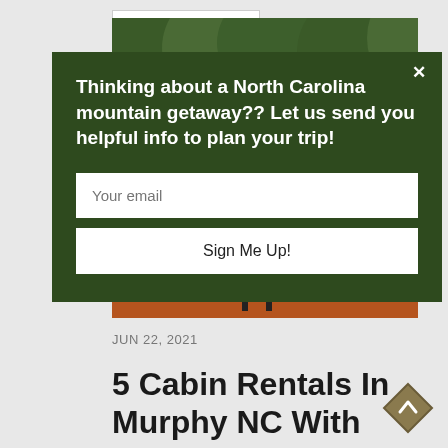[Figure (photo): Outdoor deck with round black metal table and chairs, wooden railing, trees in background]
Thinking about a North Carolina mountain getaway?? Let us send you helpful info to plan your trip!
Your email
Sign Me Up!
JUN 22, 2021
5 Cabin Rentals In Murphy NC With Incredible Mountain Views